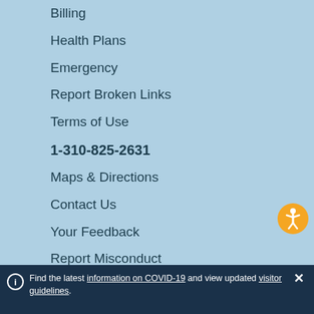Billing
Health Plans
Emergency
Report Broken Links
Terms of Use
1-310-825-2631
Maps & Directions
Contact Us
Your Feedback
Report Misconduct
Get Social
Sitemap
[Figure (infographic): Accessibility button - orange circle with white person/wheelchair icon]
Find the latest information on COVID-19 and view updated visitor guidelines.